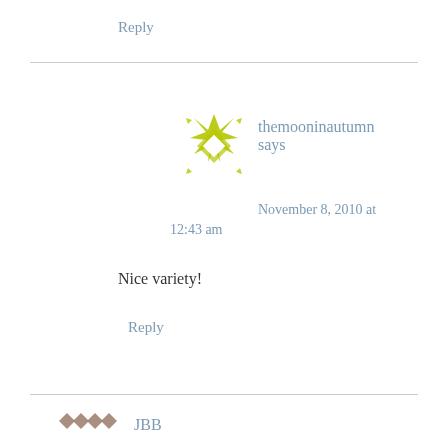Reply
[Figure (illustration): Decorative green snowflake/star avatar for user themooninautumn]
themooninautumn says
November 8, 2010 at 12:43 am
Nice variety!
Reply
[Figure (illustration): Decorative brown diamond pattern avatar for next commenter JBB]